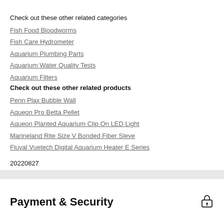Check out these other related categories
Fish Food Bloodworms
Fish Care Hydrometer
Aquarium Plumbing Parts
Aquarium Water Quality Tests
Aquarium Filters
Check out these other related products
Penn Plax Bubble Wall
Aqueon Pro Betta Pellet
Aqueon Planted Aquarium Clip On LED Light
Marineland Rite Size V Bonded Fiber Sleve
Fluval Vuetech Digital Aquarium Heater E Series
20220827
Payment & Security